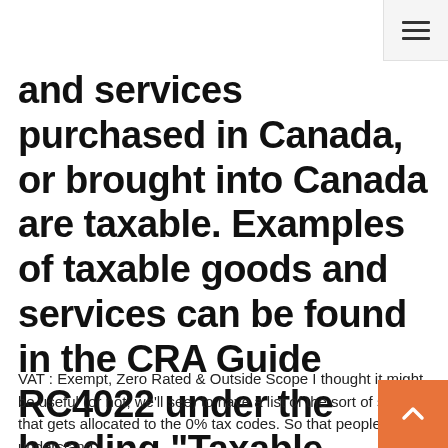and services purchased in Canada, or brought into Canada are taxable. Examples of taxable goods and services can be found in the CRA Guide RC4022 under the heading "Taxable Goods and Services".
VAT : Exempt, Zero Rated & Outside Scope I thought it might be useful (or not, we'll see) to have a list of the sort of stuff that gets allocated to the 0% tax codes. So that people understand